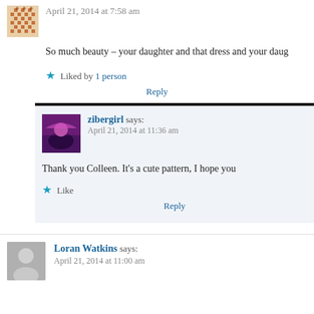[Figure (illustration): User avatar with geometric pattern (red/orange cross-stitch or tile pattern)]
April 21, 2014 at 7:58 am
So much beauty – your daughter and that dress and your daug
★ Liked by 1 person
Reply
[Figure (photo): User avatar photo of person under umbrella in purple/magenta lighting]
zibergirl says:
April 21, 2014 at 11:36 am
Thank you Colleen. It's a cute pattern, I hope you
★ Like
Reply
[Figure (illustration): Generic grey user avatar silhouette]
Loran Watkins says:
April 21, 2014 at 11:00 am